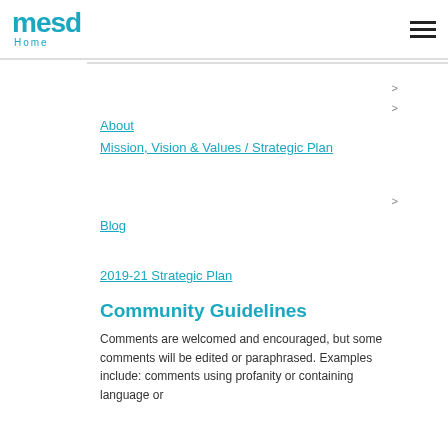mesd home
>
>
About
Mission, Vision & Values / Strategic Plan
>
Blog
2019-21 Strategic Plan
Community Guidelines
Comments are welcomed and encouraged, but some comments will be edited or paraphrased. Examples include: comments using profanity or containing language or